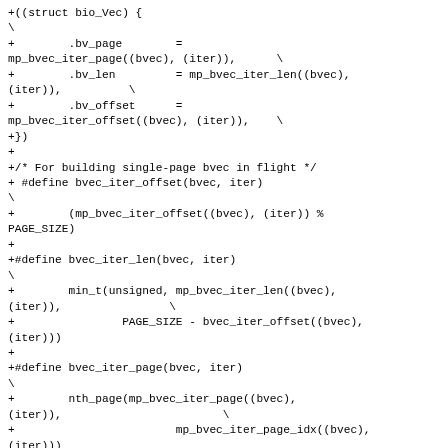+((struct bio_Vec) {\
+        .bv_page        =
mp_bvec_iter_page((bvec), (iter)),      \
+        .bv_len         = mp_bvec_iter_len((bvec),
(iter)),          \
+        .bv_offset      =
mp_bvec_iter_offset((bvec), (iter)),    \
+})
+
+/* For building single-page bvec in flight */
+ #define bvec_iter_offset(bvec, iter)\
+        (mp_bvec_iter_offset((bvec), (iter)) %
PAGE_SIZE)
+
+#define bvec_iter_len(bvec, iter)\
+        min_t(unsigned, mp_bvec_iter_len((bvec),
(iter)),                \
+                PAGE_SIZE - bvec_iter_offset((bvec),
(iter)))
+
+#define bvec_iter_page(bvec, iter)\
+        nth_page(mp_bvec_iter_page((bvec),
(iter)),                        \
+                        mp_bvec_iter_page_idx((bvec),
(iter)))
+